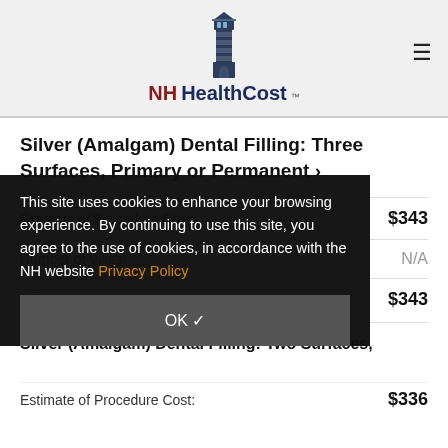[Figure (logo): NH HealthCost lighthouse logo with text 'NH HealthCost' and trademark symbol]
Silver (Amalgam) Dental Filling: Three Surfaces, Primary or Permanent ›
Estimate of Procedure Cost: $343
Number of Visits: N/A
Miles: N/A · NH: P · $343
This site uses cookies to enhance your browsing experience. By continuing to use this site, you agree to the use of cookies, in accordance with the NH website Privacy Policy
OK ✓
Silver (Amalgam) Dental Filling: Two Surfaces, Primary or Permanent
Estimate of Procedure Cost: $336